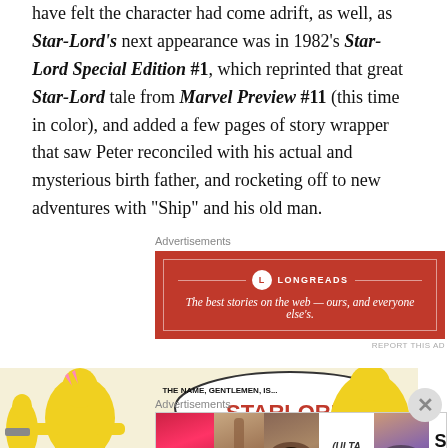have felt the character had come adrift, as well, as Star-Lord's next appearance was in 1982's Star-Lord Special Edition #1, which reprinted that great Star-Lord tale from Marvel Preview #11 (this time in color), and added a few pages of story wrapper that saw Peter reconciled with his actual and mysterious birth father, and rocketing off to new adventures with "Ship" and his old man.
Advertisements
[Figure (other): Longreads advertisement banner: red background with white border, Longreads logo and tagline 'The best stories on the web — ours, and everyone else's.']
[Figure (illustration): Comic panel showing Starlord character in yellow suit with speech bubble reading 'THE NAME, GENTLEMEN, IS... STARLORD!']
Advertisements
[Figure (photo): Ulta Beauty advertisement showing makeup images with SHOP NOW call to action]